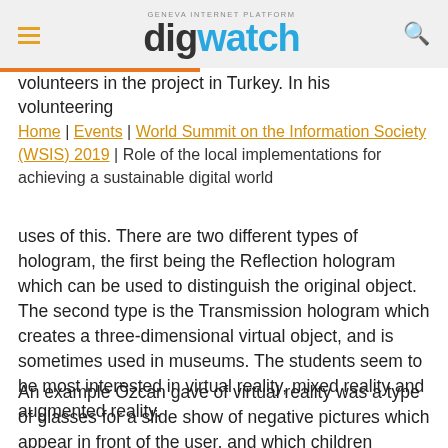GENEVA INTERNET PLATFORM digwatch
volunteers in the project in Turkey. In his volunteering
Home | Events | World Summit on the Information Society (WSIS) 2019 | Role of the local implementations for achieving a sustainable digital world
uses of this. There are two different types of hologram, the first being the Reflection hologram which can be used to distinguish the original object. The second type is the Transmission hologram which creates a three-dimensional virtual object, and is sometimes used in museums. The students seem to be most interested in virtual reality, mixed reality and augmented reality.
An example Özcan gave of virtual reality was a type of glasses for a slide show of negative pictures which appear in front of the user, and which children